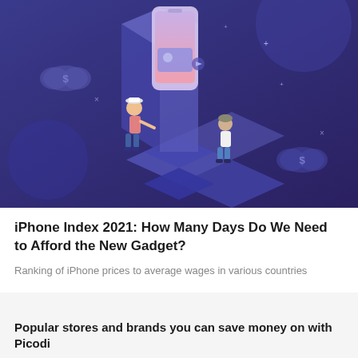[Figure (illustration): Dark purple/blue isometric illustration showing two people interacting with a large smartphone on a platform, with dollar sign clouds and stars in the background]
iPhone Index 2021: How Many Days Do We Need to Afford the New Gadget?
Ranking of iPhone prices to average wages in various countries
Popular stores and brands you can save money on with Picodi